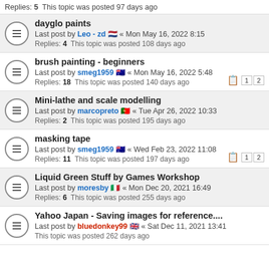Replies: 5  This topic was posted 97 days ago
dayglo paints
Last post by Leo - zd [NL flag] « Mon May 16, 2022 8:15
Replies: 4  This topic was posted 108 days ago
brush painting - beginners
Last post by smeg1959 [AU flag] « Mon May 16, 2022 5:48
Replies: 18  This topic was posted 140 days ago
Mini-lathe and scale modelling
Last post by marcopreto [PT flag] « Tue Apr 26, 2022 10:33
Replies: 2  This topic was posted 195 days ago
masking tape
Last post by smeg1959 [AU flag] « Wed Feb 23, 2022 11:08
Replies: 11  This topic was posted 197 days ago
Liquid Green Stuff by Games Workshop
Last post by moresby [IT flag] « Mon Dec 20, 2021 16:49
Replies: 6  This topic was posted 255 days ago
Yahoo Japan - Saving images for reference....
Last post by bluedonkey99 [GB flag] « Sat Dec 11, 2021 13:41
This topic was posted 262 days ago